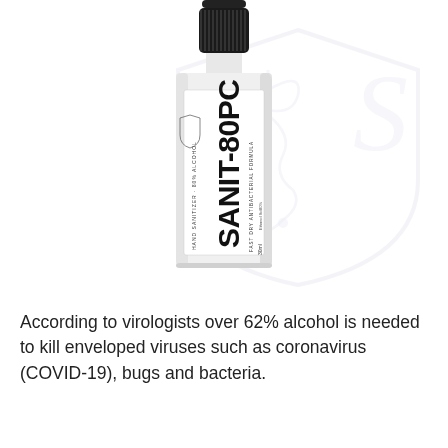[Figure (photo): A small white bottle of SANIT-80PC hand sanitizer with a black cap. The label reads 'HAND SANITIZER · 80% ALCOHOL', 'SANIT-80PC', 'FAST DRY ANTIBACTERIAL FORMULA'. Behind the bottle is a faint watermark of a medical shield with a caduceus (snake and staff symbol) and the letter S.]
According to virologists over 62% alcohol is needed to kill enveloped viruses such as coronavirus (COVID-19), bugs and bacteria.